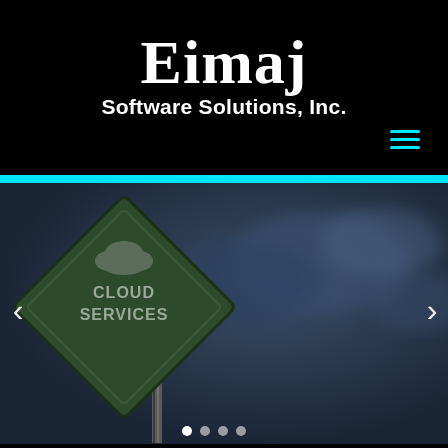Eimaj
Software Solutions, Inc.
[Figure (screenshot): Website screenshot of Eimaj Software Solutions, Inc. showing black header with company name, cyan accent bar, and a hero carousel image featuring a diamond-shaped road sign reading CLOUD SERVICES with a cloud icon, set against a blurred dark blue sky background. Carousel navigation arrows on left and right, with 4 dot indicators at the bottom.]